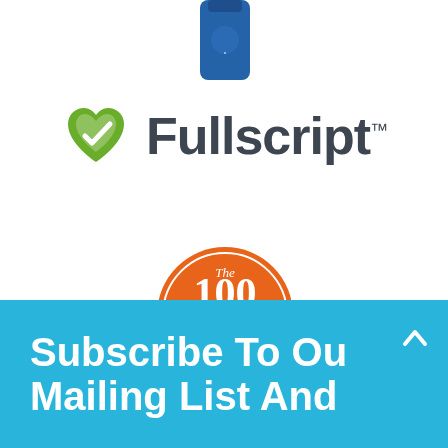[Figure (logo): Partial product image at top of page, blue bottle partially visible]
[Figure (logo): Fullscript logo with green heart/leaf icon and dark gray text 'Fullscript' with TM mark]
[Figure (logo): The 100 Year Lifestyle circular orange badge logo]
Subscribe To Our Mailing List And